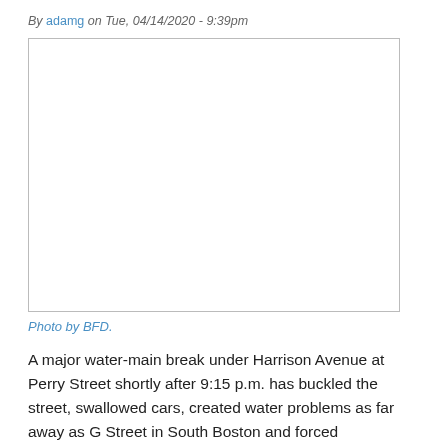By adamg on Tue, 04/14/2020 - 9:39pm
[Figure (photo): Empty white photo placeholder box with a thin gray border, representing a photo by BFD.]
Photo by BFD.
A major water-main break under Harrison Avenue at Perry Street shortly after 9:15 p.m. has buckled the street, swallowed cars, created water problems as far away as G Street in South Boston and forced Eversource to turn off the power in nearby buildings.